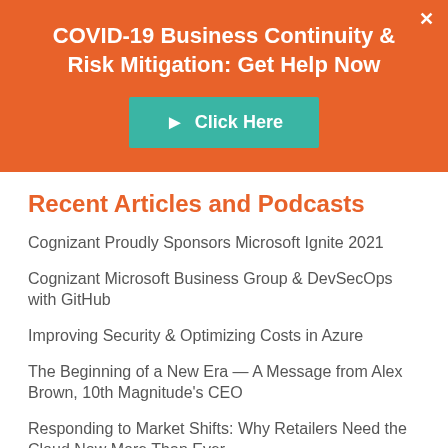COVID-19 Business Continuity & Risk Mitigation: Get Help Now
Click Here
Recent Articles and Podcasts
Cognizant Proudly Sponsors Microsoft Ignite 2021
Cognizant Microsoft Business Group & DevSecOps with GitHub
Improving Security & Optimizing Costs in Azure
The Beginning of a New Era — A Message from Alex Brown, 10th Magnitude's CEO
Responding to Market Shifts: Why Retailers Need the Cloud Now More Than Ever